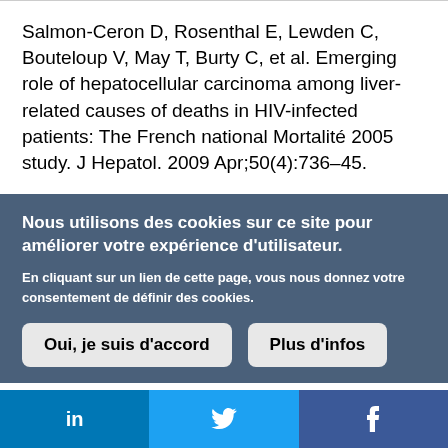Salmon-Ceron D, Rosenthal E, Lewden C, Bouteloup V, May T, Burty C, et al. Emerging role of hepatocellular carcinoma among liver-related causes of deaths in HIV-infected patients: The French national Mortalité 2005 study. J Hepatol. 2009 Apr;50(4):736–45.
Nous utilisons des cookies sur ce site pour améliorer votre expérience d'utilisateur.
En cliquant sur un lien de cette page, vous nous donnez votre consentement de définir des cookies.
Oui, je suis d'accord
Plus d'infos
[Figure (other): Social media bar with LinkedIn, Twitter, and Facebook icons]